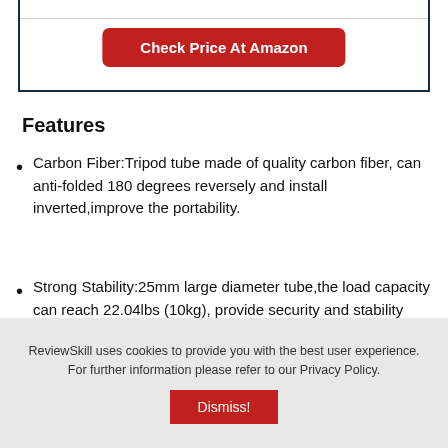Check Price At Amazon
Features
Carbon Fiber:Tripod tube made of quality carbon fiber, can anti-folded 180 degrees reversely and install inverted,improve the portability.
Strong Stability:25mm large diameter tube,the load capacity can reach 22.04lbs (10kg), provide security and stability support for your camera,
ReviewSkill uses cookies to provide you with the best user experience. For further information please refer to our Privacy Policy.
Dismiss!